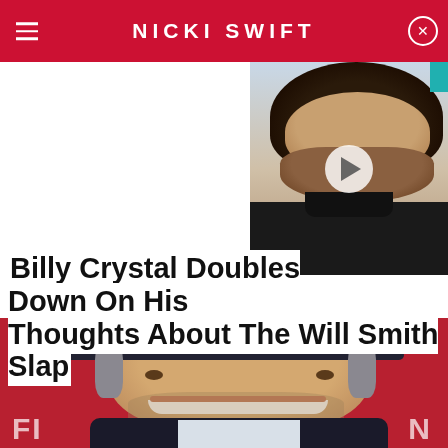NICKI SWIFT
[Figure (photo): Video thumbnail of a heavyset man with long dark hair and beard, with a white play button circle overlay]
Billy Crystal Doubles Down On His Thoughts About The Will Smith Slap
[Figure (photo): Close-up photo of Billy Crystal smiling, wearing a dark cap, against a red background]